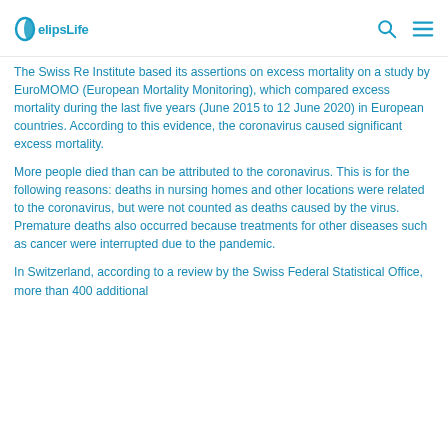elipsLife
The Swiss Re Institute based its assertions on excess mortality on a study by EuroMOMO (European Mortality Monitoring), which compared excess mortality during the last five years (June 2015 to 12 June 2020) in European countries. According to this evidence, the coronavirus caused significant excess mortality.
More people died than can be attributed to the coronavirus. This is for the following reasons: deaths in nursing homes and other locations were related to the coronavirus, but were not counted as deaths caused by the virus. Premature deaths also occurred because treatments for other diseases such as cancer were interrupted due to the pandemic.
In Switzerland, according to a review by the Swiss Federal Statistical Office, more than 400 additional